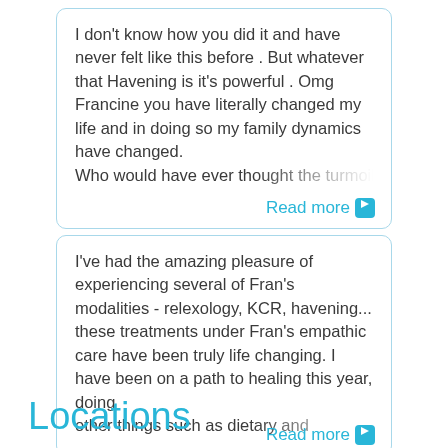I don't know how you did it and have never felt like this before . But whatever that Havening is it's powerful . Omg Francine you have literally changed my life and in doing so my family dynamics have changed. Who would have ever thought the turmoil I've
Read more
I've had the amazing pleasure of experiencing several of Fran's modalities - relexology, KCR, havening... these treatments under Fran's empathic care have been truly life changing. I have been on a path to healing this year, doing other things such as dietary and
Read more
Locations